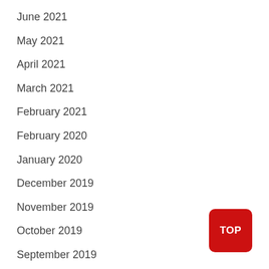June 2021
May 2021
April 2021
March 2021
February 2021
February 2020
January 2020
December 2019
November 2019
October 2019
September 2019
August 2019